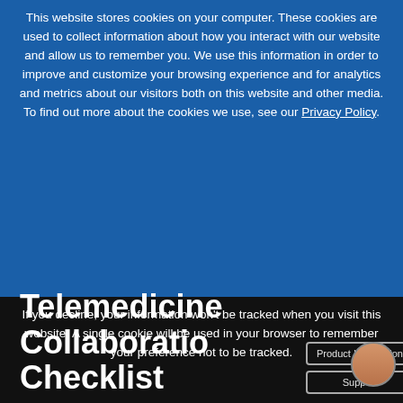This website stores cookies on your computer. These cookies are used to collect information about how you interact with our website and allow us to remember you. We use this information in order to improve and customize your browsing experience and for analytics and metrics about our visitors both on this website and other media. To find out more about the cookies we use, see our Privacy Policy.
If you decline, your information won't be tracked when you visit this website. A single cookie will be used in your browser to remember your preference not to be tracked.
Allow cookies
Refuse cookies
Hello, I am here to help if you have any questions about our products?
Telemedicine Collaboratio... Checklist
Product Information
Support